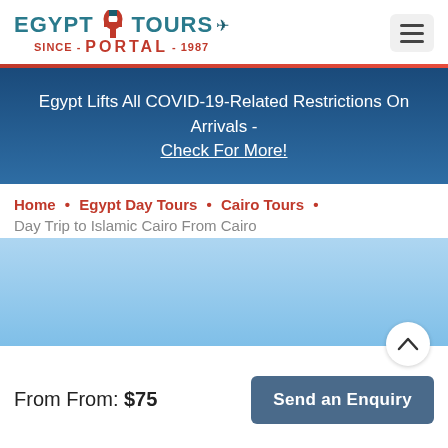[Figure (logo): Egypt Tours Portal logo with teal/blue text and red PORTAL wordmark, since 1987]
Egypt Lifts All COVID-19-Related Restrictions On Arrivals - Check For More!
Home • Egypt Day Tours • Cairo Tours •
Day Trip to Islamic Cairo From Cairo
[Figure (photo): Light blue sky/landscape photo area for the tour]
From From: $75
Send an Enquiry